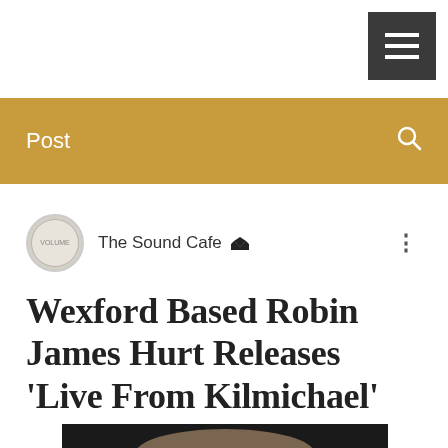Post
The Sound Cafe [admin]
Wexford Based Robin James Hurt Releases 'Live From Kilmichael'
[Figure (photo): Photo of a person, partially visible at bottom of page, dark background]